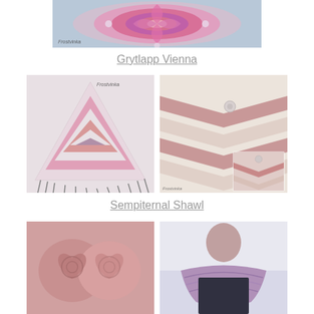[Figure (photo): Close-up of a pink and purple crochet mandala/flower design on a blue-grey background, with 'Frostvinka' watermark]
Grytlapp Vienna
[Figure (photo): Two crochet shawl photos side by side. Left: triangular shawl with pink, grey and white stripes with fringe, 'Frostvinka' watermark. Right: chevron-patterned shawl in pink and cream with an inset detail photo.]
Sempiternal Shawl
[Figure (photo): Two photos side by side. Left: pink crochet heart coasters/motifs. Right: person wearing a purple/mauve crochet shawl outdoors in snow.]